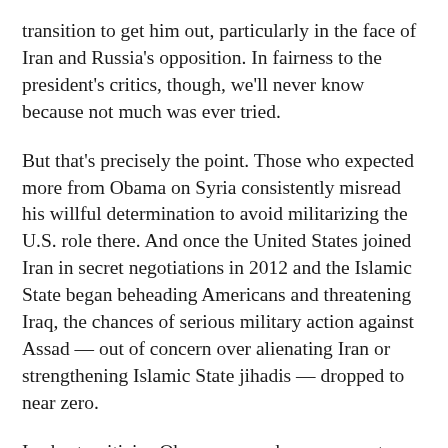transition to get him out, particularly in the face of Iran and Russia's opposition. In fairness to the president's critics, though, we'll never know because not much was ever tried.
But that's precisely the point. Those who expected more from Obama on Syria consistently misread his willful determination to avoid militarizing the U.S. role there. And once the United States joined Iran in secret negotiations in 2012 and the Islamic State began beheading Americans and threatening Iraq, the chances of serious military action against Assad — out of concern over alienating Iran or strengthening Islamic State jihadis — dropped to near zero.
In short, criticize Obama as much as you want; blast him for pursuing an amoral policy that failed to alert the American public to the tragedy of Syria or its damage to U.S. interests. But don't give him a test he couldn't possibly have passed.
I recently argued in this space that like death and taxes